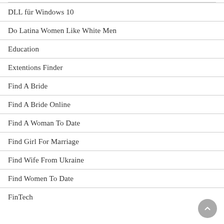DLL für Windows 10
Do Latina Women Like White Men
Education
Extentions Finder
Find A Bride
Find A Bride Online
Find A Woman To Date
Find Girl For Marriage
Find Wife From Ukraine
Find Women To Date
FinTech